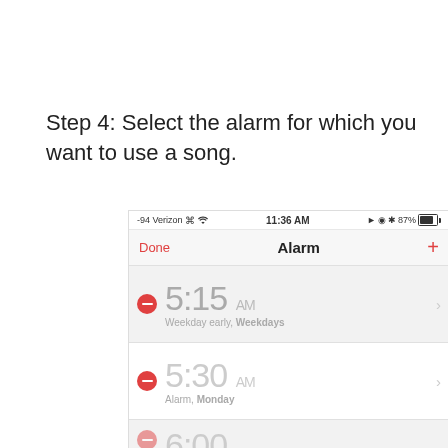Step 4: Select the alarm for which you want to use a song.
[Figure (screenshot): iPhone alarm screen showing status bar with -94 Verizon, 11:36 AM, 87% battery, navigation bar with Done and Alarm title and + button, and two alarm entries: 5:15 AM (Weekday early, Weekdays) and 5:30 AM (Alarm, Monday), with partial 6:00 visible at bottom]